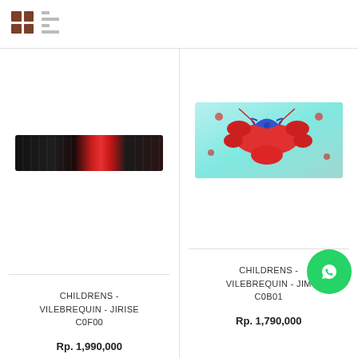[Figure (screenshot): Grid view and list view toggle icons]
[Figure (photo): Product image: CHILDRENS VILEBREQUIN JIRISE C0F00 - dark patterned swimwear waistband]
CHILDRENS - VILEBREQUIN - JIRISE C0F00
Rp. 1,990,000
[Figure (photo): Product image: CHILDRENS VILEBREQUIN JIM C0B01 - colorful lobster print swimwear]
CHILDRENS - VILEBREQUIN - JIM C0B01
Rp. 1,790,000